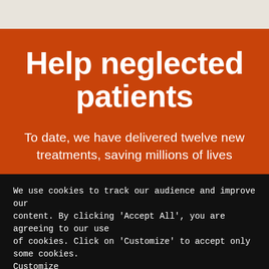Help neglected patients
To date, we have delivered twelve new treatments, saving millions of lives
We use cookies to track our audience and improve our content. By clicking 'Accept All', you are agreeing to our use of cookies. Click on 'Customize' to accept only some cookies. Customize
ACCEPT ALL